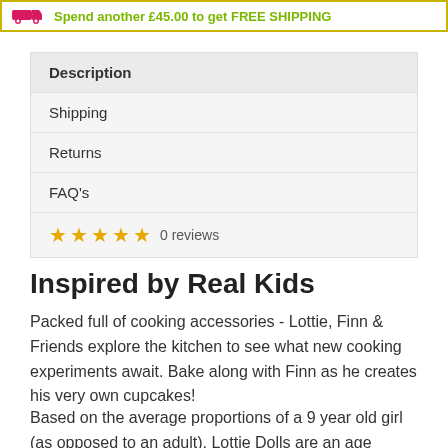Spend another £45.00 to get FREE SHIPPING
Description
Shipping
Returns
FAQ's
★★★★★ 0 reviews
Inspired by Real Kids
Packed full of cooking accessories - Lottie, Finn & Friends explore the kitchen to see what new cooking experiments await. Bake along with Finn as he creates his very own cupcakes!
Based on the average proportions of a 9 year old girl (as opposed to an adult), Lottie Dolls are an age relatable doll that